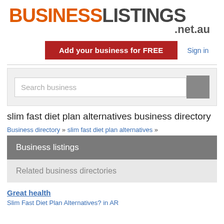[Figure (logo): BusinessListings.net.au logo with BUSINESS in orange bold and LISTINGS in dark gray bold, followed by .net.au below]
[Figure (other): Red button with white bold text: Add your business for FREE, and a Sign in link to the right]
[Figure (other): Search box with placeholder text 'Search business' and a gray search button]
slim fast diet plan alternatives business directory
Business directory » slim fast diet plan alternatives »
Business listings
Related business directories
Great health
Slim Fast Diet Plan Alternatives? in AR